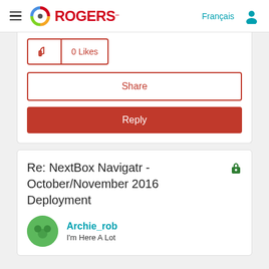Rogers - Français
[Figure (other): Thumbs up icon with 0 Likes button]
Share
Reply
Re: NextBox Navigatr - October/November 2016 Deployment
Archie_rob
I'm Here A Lot